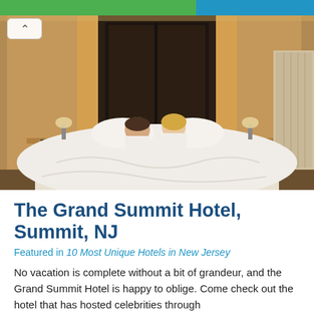[Figure (photo): Hotel bedroom photo showing a couple sitting up in a large bed with white linens, wooden headboard and warm-lit wooden wall panels, with nightstands on either side]
The Grand Summit Hotel, Summit, NJ
Featured in 10 Most Unique Hotels in New Jersey
No vacation is complete without a bit of grandeur, and the Grand Summit Hotel is happy to oblige. Come check out the hotel that has hosted celebrities through